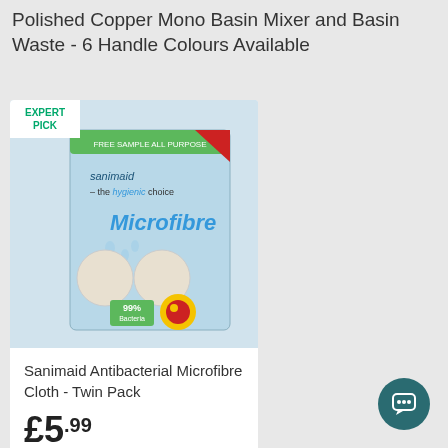Polished Copper Mono Basin Mixer and Basin Waste - 6 Handle Colours Available
[Figure (photo): Product photo of Sanimaid Antibacterial Microfibre Cloth Twin Pack packaging, with 'EXPERT PICK' badge in top left corner. The packaging shows microfibre cloth imagery, 99% bacteria free claim, and a yellow/red circular label.]
Sanimaid Antibacterial Microfibre Cloth - Twin Pack
£5.99
RRP £10.49
★★★★★ (10)
Next day available